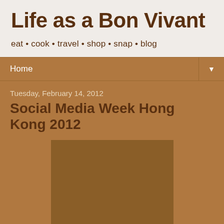Life as a Bon Vivant
eat • cook • travel • shop • snap • blog
Home ▼
Tuesday, February 14, 2012
Social Media Week Hong Kong 2012
[Figure (photo): A photograph embedded in the blog post, displayed as a dark brownish rectangle placeholder]